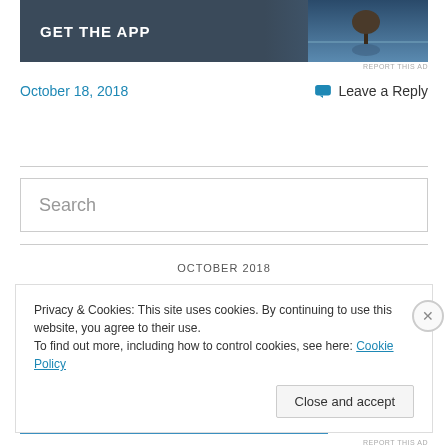[Figure (screenshot): App advertisement banner with dark background showing GET THE APP text and a tree silhouette photo]
REPORT THIS AD
October 18, 2018
Leave a Reply
Search
OCTOBER 2018
Privacy & Cookies: This site uses cookies. By continuing to use this website, you agree to their use.
To find out more, including how to control cookies, see here: Cookie Policy
Close and accept
REPORT THIS AD